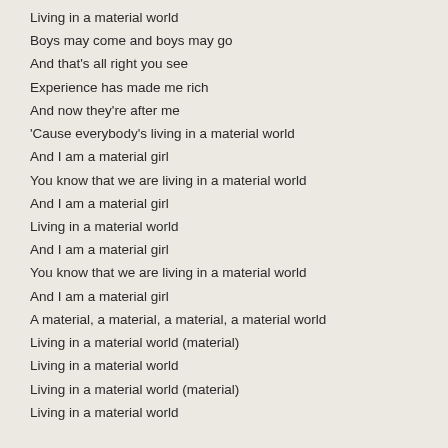Living in a material world
Boys may come and boys may go
And that's all right you see
Experience has made me rich
And now they're after me
'Cause everybody's living in a material world
And I am a material girl
You know that we are living in a material world
And I am a material girl
Living in a material world
And I am a material girl
You know that we are living in a material world
And I am a material girl
A material, a material, a material, a material world
Living in a material world (material)
Living in a material world
Living in a material world (material)
Living in a material world